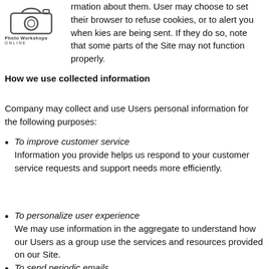[Figure (logo): Photo Workshops Online logo with camera icon and text]
rmation about them. User may choose to set their browser to refuse cookies, or to alert you when kies are being sent. If they do so, note that some parts of the Site may not function properly.
How we use collected information
Company may collect and use Users personal information for the following purposes:
To improve customer service
Information you provide helps us respond to your customer service requests and support needs more efficiently.
To personalize user experience
We may use information in the aggregate to understand how our Users as a group use the services and resources provided on our Site.
To send periodic emails